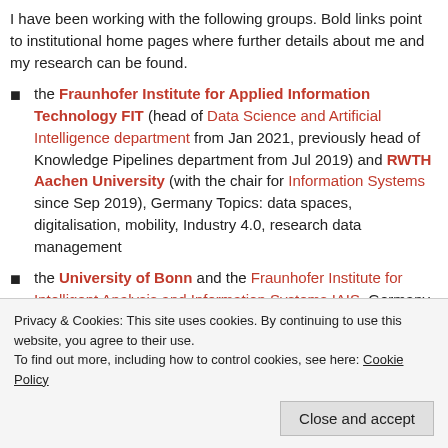I have been working with the following groups. Bold links point to institutional home pages where further details about me and my research can be found.
the Fraunhofer Institute for Applied Information Technology FIT (head of Data Science and Artificial Intelligence department from Jan 2021, previously head of Knowledge Pipelines department from Jul 2019) and RWTH Aachen University (with the chair for Information Systems since Sep 2019), Germany Topics: data spaces, digitalisation, mobility, Industry 4.0, research data management
the University of Bonn and the Fraunhofer Institute for Intelligent Analysis and Information Systems IAIS, Germany (head of Enterprise Information Systems department
Privacy & Cookies: This site uses cookies. By continuing to use this website, you agree to their use. To find out more, including how to control cookies, see here: Cookie Policy
digitalisation, Industry 4.0